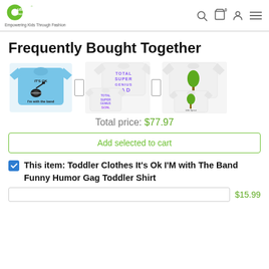Cute Rascals – Empowering Kids Through Fashion
Frequently Bought Together
[Figure (photo): Three product t-shirt images shown side by side with plus separators: a blue toddler shirt saying 'It's OK I'm with the band', a white shirt saying 'Total Super Genius Dad' with a smaller shirt below saying 'Total Super Genius Son', and two white shirts with a tree graphic.]
Total price: $77.97
Add selected to cart
This item: Toddler Clothes It's Ok I'M with The Band Funny Humor Gag Toddler Shirt